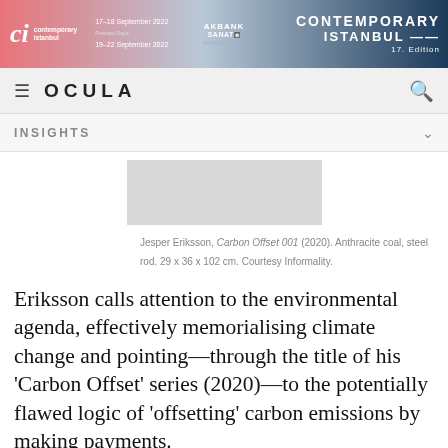[Figure (other): Banner advertisement for Contemporary Istanbul, 17-18 September 2022 and 19-22 September 2022, featuring Akbank Sanat logo and '17. Edition' text]
≡  OCULA  🔍
INSIGHTS
[Figure (photo): Artwork photograph placeholder (grey rectangle)]
Jesper Eriksson, Carbon Offset 001 (2020). Anthracite coal, steel rod. 29 x 36 x 102 cm. Courtesy Informality.
Eriksson calls attention to the environmental agenda, effectively memorialising climate change and pointing—through the title of his 'Carbon Offset' series (2020)—to the potentially flawed logic of 'offsetting' carbon emissions by making payments.